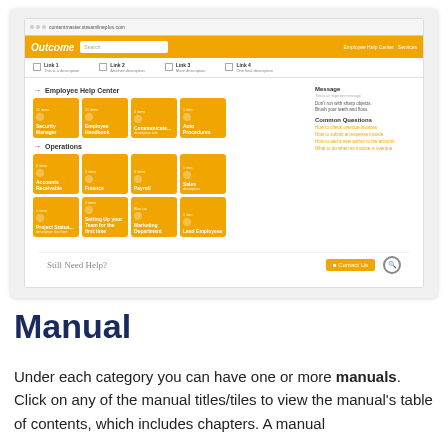[Figure (screenshot): Screenshot of the 'Outcome' employee help center web application showing navigation, category tiles (Employee Help Center: Security Manager, Employee Handbook, Communicate, Auto Procedures; Operations: Accounts Receivable, Finance, Payroll, Sales, Project Status, Setting Up Your Team for the First Time, Marketing Department, Lead Employees), a message panel, common questions panel, and a 'Still Need Help?' footer bar with Contact Us button.]
Manual
Under each category you can have one or more manuals. Click on any of the manual titles/tiles to view the manual's table of contents, which includes chapters. A manual